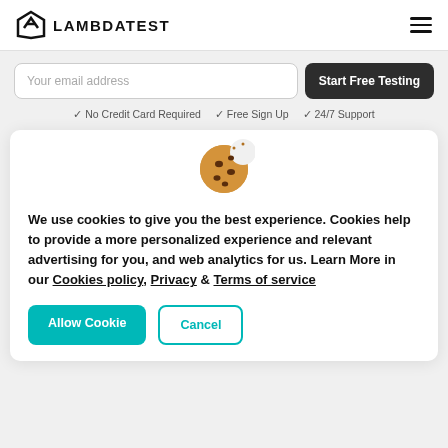LAMBDATEST
Your email address
Start Free Testing
✓ No Credit Card Required   ✓ Free Sign Up   ✓ 24/7 Support
[Figure (illustration): Cookie emoji icon - brown cookie with chocolate chips and a bite taken out]
We use cookies to give you the best experience. Cookies help to provide a more personalized experience and relevant advertising for you, and web analytics for us. Learn More in our Cookies policy, Privacy & Terms of service
Allow Cookie
Cancel